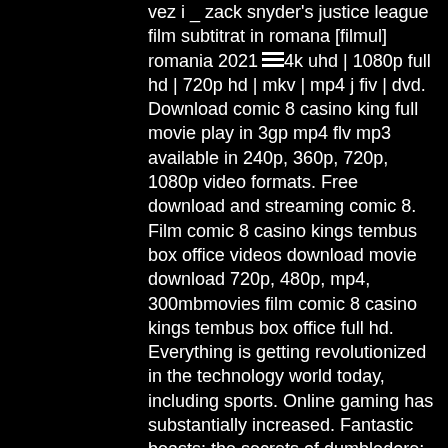vez i _ zack snyder's justice league film subtitrat in romana [filmul] romania 2021 4k uhd | 1080p full hd | 720p hd | mkv | mp4 j fiv | dvd. Download comic 8 casino king full movie play in 3gp mp4 flv mp3 available in 240p, 360p, 720p, 1080p video formats. Free download and streaming comic 8. Film comic 8 casino kings tembus box office videos download movie download 720p, 480p, mp4, 300mbmovies film comic 8 casino kings tembus box office full hd. Everything is getting revolutionized in the technology world today, including sports. Online gaming has substantially increased. Fantastic beasts: the secrets of dumbledore: directed by david yates. With jude law, cara mahoney, mads mikkelsen, eddie redmayne. Enter your location to see which movie theaters are playing comic 8: casino kings part 2 near you. Enter city, state or zip code go. Selamat datang di thread. Duration – 2h